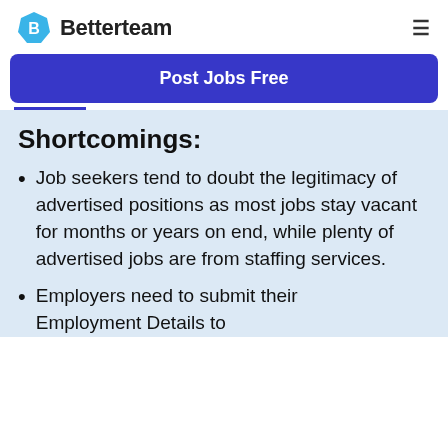Betterteam
Post Jobs Free
Shortcomings:
Job seekers tend to doubt the legitimacy of advertised positions as most jobs stay vacant for months or years on end, while plenty of advertised jobs are from staffing services.
Employers need to submit their Employment Details to...